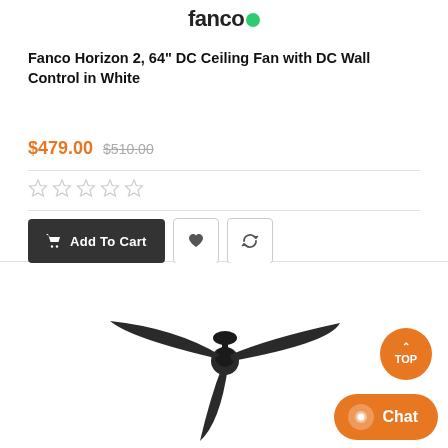[Figure (logo): Fanco brand logo with green dot]
Fanco Horizon 2, 64" DC Ceiling Fan with DC Wall Control in White
$479.00 $510.00
[Figure (other): Five empty star rating icons]
[Figure (other): Add To Cart button, wishlist heart button, compare/refresh button]
[Figure (photo): Black 3-blade ceiling fan viewed from slight angle]